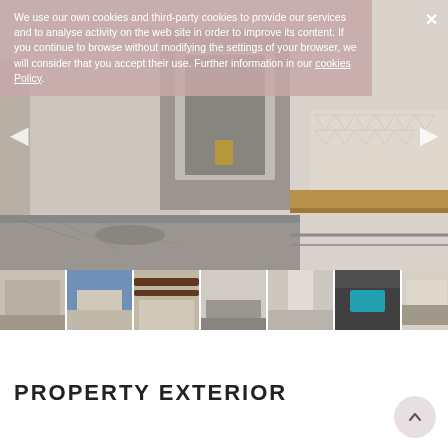We use our own cookies and third-party cookies to provide our services and to analyse activity on the web site in order to improve its content. If you continue to browse without modifying the settings of your browser, we will consider that you accept their use. Further information in our cookies Policy.
[Figure (photo): Interior kitchen/living area with marble countertop, glass backsplash, cabinetry, and modern fixtures. Carousel image gallery with left and right navigation arrows.]
[Figure (photo): Row of thumbnail photos: kitchen interior, building exterior, room with exposed beams, another kitchen view, hallway/room, rooftop pool, kitchen counter detail.]
PROPERTY EXTERIOR